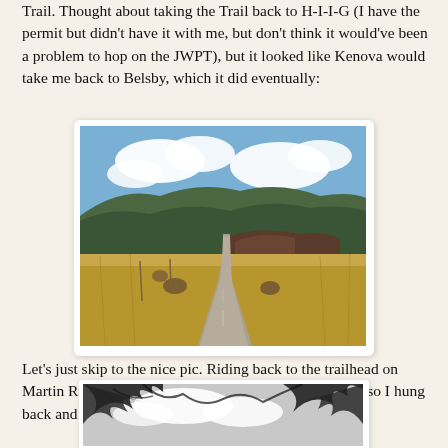Trail.  Thought about taking the Trail back to H-I-I-G (I have the permit but didn't have it with me, but don't think it would've been a problem to hop on the JWPT), but it looked like Kenova would take me back to Belsby, which it did eventually:
[Figure (photo): A gravel road stretching into the distance through dry golden grassland, with pine-covered hills and a blue sky with white clouds in the background.]
Let's just skip to the nice pic.  Riding back to the trailhead on Martin Rd, I saw some deer crossing the road up ahead so I hung back and waited as what turned out to be a herd cross.
[Figure (photo): Black and white photo of tree branches silhouetted against a bright sky with clouds.]